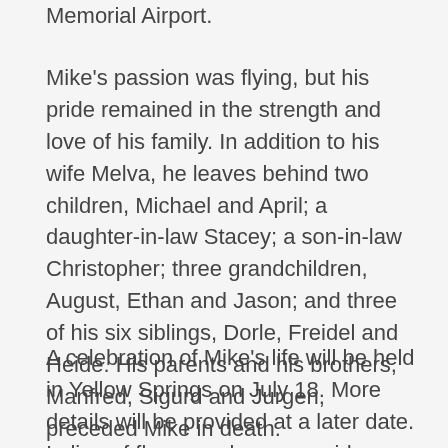Memorial Airport.
Mike's passion was flying, but his pride remained in the strength and love of his family. In addition to his wife Melva, he leaves behind two children, Michael and April; a daughter-in-law Stacey; a son-in-law Christopher; three grandchildren, August, Ethan and Jason; and three of his six siblings, Dorle, Freidel and Heide. His parents and his brothers, Manfred, Sigurd and Jurgen, preceded Mike in death.
A celebration of Mike's life will be held in Yellow Springs on July 18. More details will be provided at a later date. In lieu of flowers, please consider a donation to the OSU Medical Center's Pelotonia (www.pelotonia.org/knemeyer — Rider No: IR0003), where 100 percent of your donation goes directly to cancer research. The family also appreciates donations to the Glen Helen Association